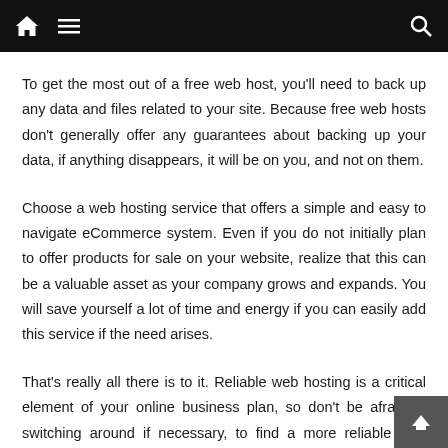Navigation bar with home, menu, and search icons
To get the most out of a free web host, you'll need to back up any data and files related to your site. Because free web hosts don't generally offer any guarantees about backing up your data, if anything disappears, it will be on you, and not on them.
Choose a web hosting service that offers a simple and easy to navigate eCommerce system. Even if you do not initially plan to offer products for sale on your website, realize that this can be a valuable asset as your company grows and expands. You will save yourself a lot of time and energy if you can easily add this service if the need arises.
That's really all there is to it. Reliable web hosting is a critical element of your online business plan, so don't be afraid of switching around if necessary, to find a more reliable web